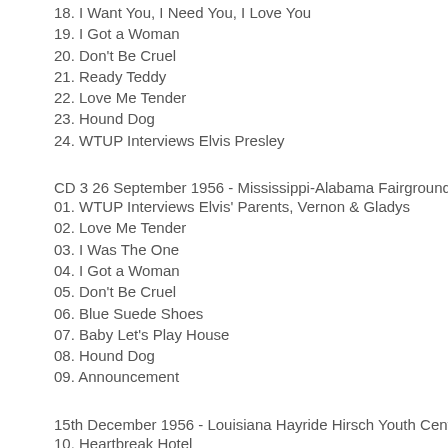18. I Want You, I Need You, I Love You
19. I Got a Woman
20. Don't Be Cruel
21. Ready Teddy
22. Love Me Tender
23. Hound Dog
24. WTUP Interviews Elvis Presley
CD 3 26 September 1956 - Mississippi-Alabama Fairgrounds, Tupel
01. WTUP Interviews Elvis' Parents, Vernon & Gladys
02. Love Me Tender
03. I Was The One
04. I Got a Woman
05. Don't Be Cruel
06. Blue Suede Shoes
07. Baby Let's Play House
08. Hound Dog
09. Announcement
15th December 1956 - Louisiana Hayride Hirsch Youth Center, Louis
10. Heartbreak Hotel
11. Long Tall Sally
12. I Was the One
13. Love Me Tender
14. Don't Be Cruel